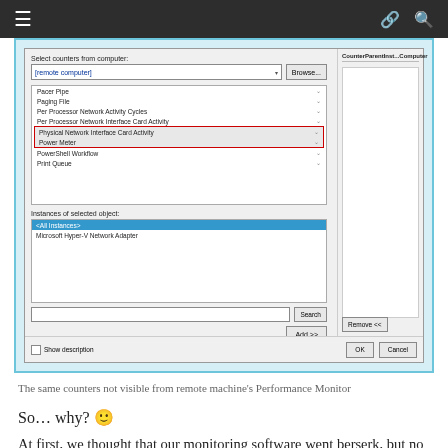[Figure (screenshot): Windows Performance Monitor 'Add Counters' dialog showing a list of performance counters including Pacer Pipe, Paging File, Per Processor Network Activity Cycles, Per Processor Network Interface Card Activity, Physical Network Interface Card Activity (highlighted with red outline), Power Meter (also red outline), PowerShell Workflow, Print Queue. The Instances pane shows '<All Instances>' selected in blue and 'Microsoft Hyper-V Network Adapter'. Right pane shows Counter/Parent/Inst.../Computer columns. Add >>, Remove <<, OK, Cancel buttons visible.]
The same counters not visible from remote machine's Performance Monitor
So… why? 🙂
At first, we thought that our monitoring software went berserk, but no – the PhysicalDisk counters on a remote machine are not shown in the list that